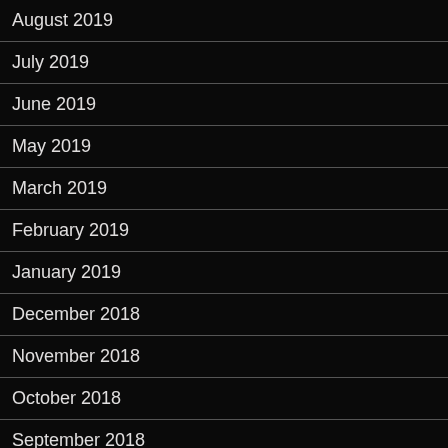August 2019
July 2019
June 2019
May 2019
March 2019
February 2019
January 2019
December 2018
November 2018
October 2018
September 2018
August 2018
July 2018